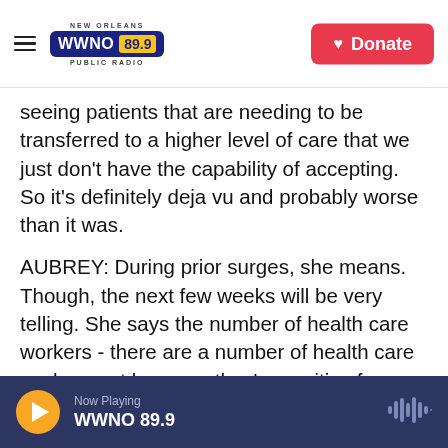NEW ORLEANS WWNO 89.9 PUBLIC RADIO | Donate
seeing patients that are needing to be transferred to a higher level of care that we just don't have the capability of accepting. So it's definitely deja vu and probably worse than it was.
AUBREY: During prior surges, she means. Though, the next few weeks will be very telling. She says the number of health care workers - there are a number of health care workers out because they're positive for COVID. That adds to the strain. People hospitalized now are in their 40s and 50s, on average - so younger, she says. And the CDC has said over 90% of people hospitalized nationwide
Now Playing WWNO 89.9